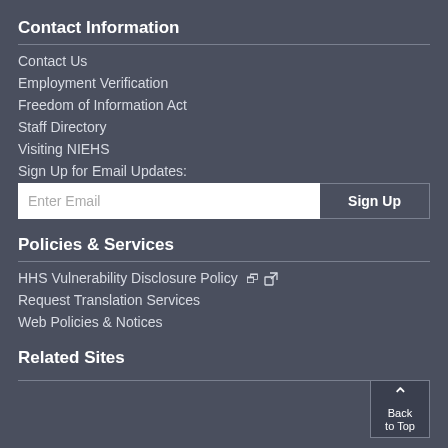Contact Information
Contact Us
Employment Verification
Freedom of Information Act
Staff Directory
Visiting NIEHS
Sign Up for Email Updates:
Policies & Services
HHS Vulnerability Disclosure Policy ↗
Request Translation Services
Web Policies & Notices
Related Sites